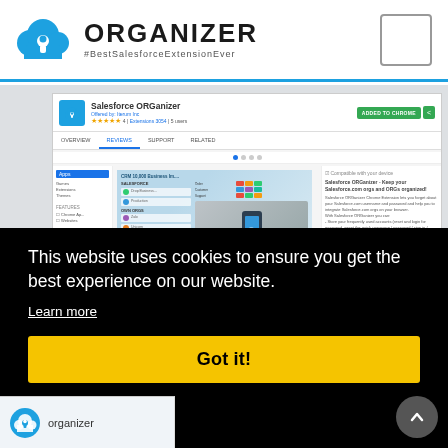ORGANIZER #BestSalesforceExtensionEver
[Figure (screenshot): Chrome Web Store page showing Salesforce ORGanizer extension with ADDED TO CHROME button, star ratings, overview/reviews/support/related tabs, and a screenshot of the extension in use]
This website uses cookies to ensure you get the best experience on our website.
Learn more
Got it!
[Figure (screenshot): Bottom strip showing organizer extension icon and name]